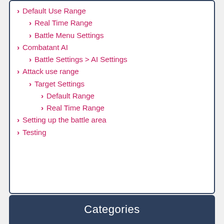Default Use Range
Real Time Range
Battle Menu Settings
Combatant AI
Battle Settings > AI Settings
Attack use range
Target Settings
Default Range
Real Time Range
Setting up the battle area
Testing
Categories